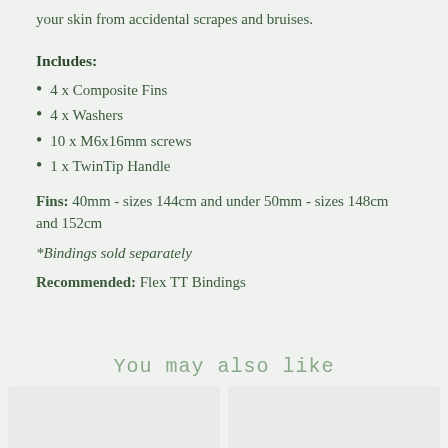your skin from accidental scrapes and bruises.
Includes:
4 x Composite Fins
4 x Washers
10 x M6x16mm screws
1 x TwinTip Handle
Fins: 40mm - sizes 144cm and under 50mm - sizes 148cm and 152cm
*Bindings sold separately
Recommended: Flex TT Bindings
You may also like